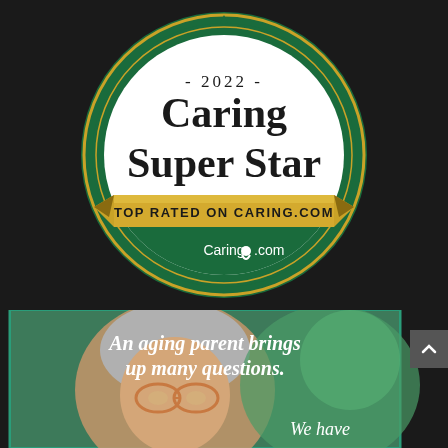[Figure (logo): 2022 Caring Super Star badge — circular green serrated-edge seal with white center. Text reads '- 2022 -' then 'Caring Super Star' in bold serif. A gold ribbon banner across the middle reads 'TOP RATED ON CARING.COM'. Below the ribbon the green seal shows 'Caring.com' logo in white.]
[Figure (photo): Advertisement image showing an elderly smiling woman with gray hair and glasses on a green/white blurred background. White italic text overlay reads 'An aging parent brings up many questions.' followed partially by 'We have' in italic.]